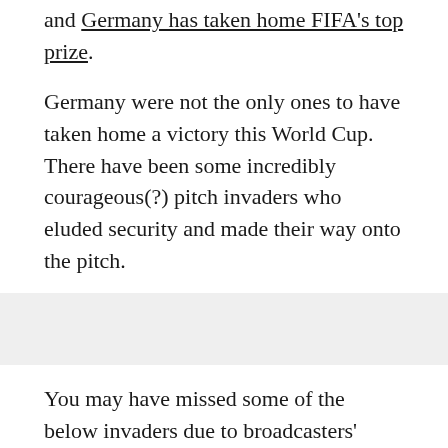and Germany has taken home FIFA's top prize.
Germany were not the only ones to have taken home a victory this World Cup. There have been some incredibly courageous(?) pitch invaders who eluded security and made their way onto the pitch.
[Figure (other): Gray placeholder bar representing an image or media block]
You may have missed some of the below invaders due to broadcasters' resistance to give them airtime, but we've got you covered.
Although their fates remain a mystery, these few moments of glory will always be remembered...by them.